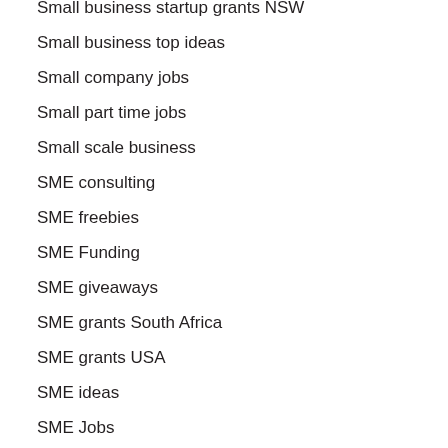Small business startup grants NSW
Small business top ideas
Small company jobs
Small part time jobs
Small scale business
SME consulting
SME freebies
SME Funding
SME giveaways
SME grants South Africa
SME grants USA
SME ideas
SME Jobs
SME quotes